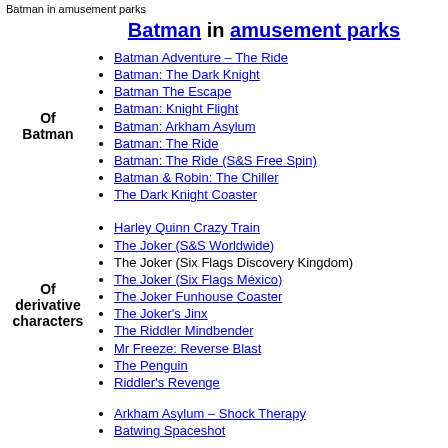Batman in amusement parks
Batman in amusement parks
Of Batman
Batman Adventure – The Ride
Batman: The Dark Knight
Batman The Escape
Batman: Knight Flight
Batman: Arkham Asylum
Batman: The Ride
Batman: The Ride (S&S Free Spin)
Batman & Robin: The Chiller
The Dark Knight Coaster
Of derivative characters
Harley Quinn Crazy Train
The Joker (S&S Worldwide)
The Joker (Six Flags Discovery Kingdom)
The Joker (Six Flags México)
The Joker Funhouse Coaster
The Joker's Jinx
The Riddler Mindbender
Mr Freeze: Reverse Blast
The Penguin
Riddler's Revenge
Arkham Asylum – Shock Therapy
Batwing Spaceshot